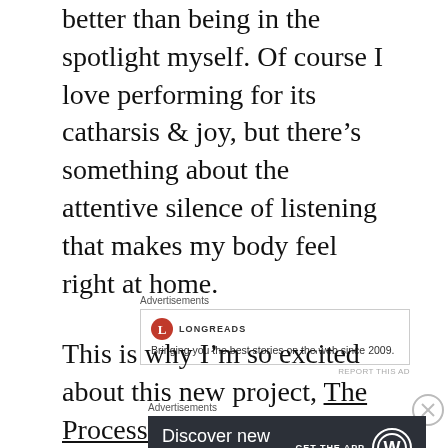better than being in the spotlight myself. Of course I love performing for its catharsis & joy, but there's something about the attentive silence of listening that makes my body feel right at home.
[Figure (other): Longreads advertisement: logo with red circle L, text 'Bringing you the best stories on the web since 2009.']
This is why I'm so excited about this new project, The Process Podcast. Not only does it align with my values and artistic journey (aka career), but it will help me explore Big
[Figure (other): WordPress advertisement: dark background, text 'Discover new reads on the go.' with 'GET THE APP' and WordPress logo]